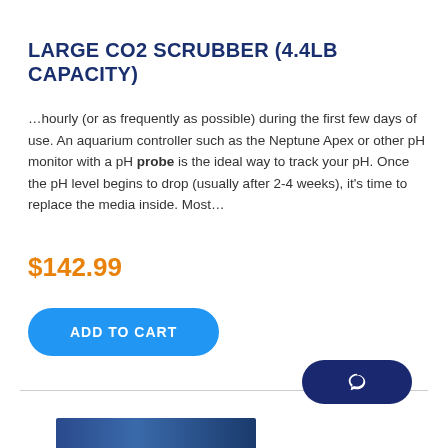LARGE CO2 SCRUBBER (4.4LB CAPACITY)
…hourly (or as frequently as possible) during the first few days of use. An aquarium controller such as the Neptune Apex or other pH monitor with a pH probe is the ideal way to track your pH. Once the pH level begins to drop (usually after 2-4 weeks), it's time to replace the media inside. Most…
$142.99
[Figure (other): Add to Cart button - rounded blue pill button with white bold text ADD TO CART]
[Figure (other): Chat/support button - dark navy blue rounded pill with chat bubble icon, bottom right corner]
[Figure (other): Product image strip visible at bottom of page]